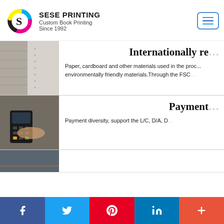SESE PRINTING — Custom Book Printing Since 1992
Internationally re...
Paper, cardboard and other materials used in the proc... environmentally friendly materials.Through the FSC...
Payment...
Payment diversity, support the L/C, D/A, D...